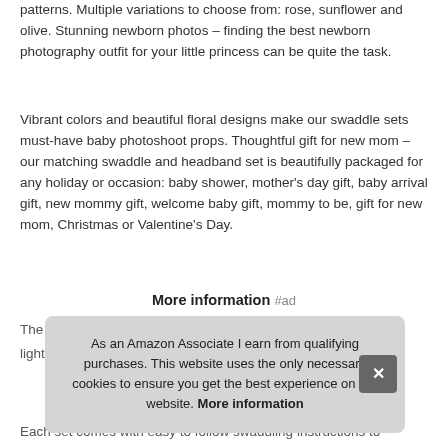patterns. Multiple variations to choose from: rose, sunflower and olive. Stunning newborn photos – finding the best newborn photography outfit for your little princess can be quite the task.
Vibrant colors and beautiful floral designs make our swaddle sets must-have baby photoshoot props. Thoughtful gift for new mom – our matching swaddle and headband set is beautifully packaged for any holiday or occasion: baby shower, mother's day gift, baby arrival gift, new mommy gift, welcome baby gift, mommy to be, gift for new mom, Christmas or Valentine's Day.
More information #ad
The
light
Each set comes with easy to follow swaddling instructions to
As an Amazon Associate I earn from qualifying purchases. This website uses the only necessary cookies to ensure you get the best experience on our website. More information